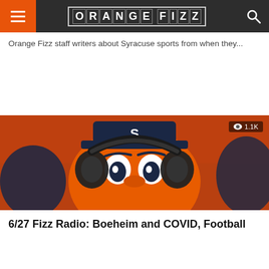ORANGE FIZZ
Orange Fizz staff writers about Syracuse sports from when they...
[Figure (photo): Syracuse Orange mascot with headphones on, orange and navy blue colors, stadium crowd in background, with view count badge showing 1.1K]
6/27 Fizz Radio: Boeheim and COVID, Football